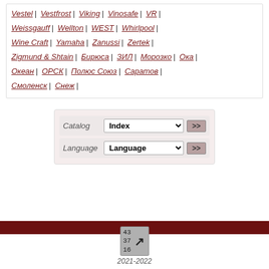Vestel | Vestfrost | Viking | Vinosafe | VR | Weissgauff | Wellton | WEST | Whirlpool | Wine Craft | Yamaha | Zanussi | Zertek | Zigmund & Shtain | Бирюса | ЗИЛ | Морозко | Ока | Океан | ОРСК | Полюс Союз | Саратов | Смоленск | Снеж |
[Figure (screenshot): Catalog dropdown selector showing 'Index' with >> button, and Language dropdown showing 'Language' with >> button]
43 37 16  2021-2022